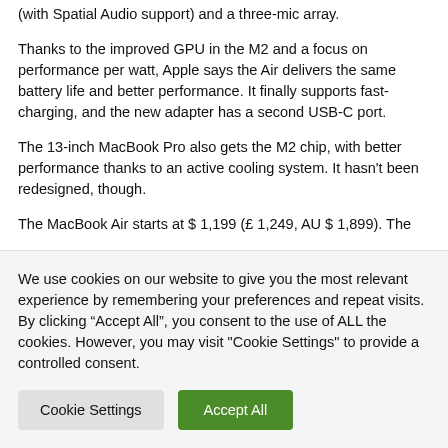(with Spatial Audio support) and a three-mic array.
Thanks to the improved GPU in the M2 and a focus on performance per watt, Apple says the Air delivers the same battery life and better performance. It finally supports fast-charging, and the new adapter has a second USB-C port.
The 13-inch MacBook Pro also gets the M2 chip, with better performance thanks to an active cooling system. It hasn't been redesigned, though.
The MacBook Air starts at $ 1,199 (£ 1,249, AU $ 1,899). The
We use cookies on our website to give you the most relevant experience by remembering your preferences and repeat visits. By clicking “Accept All”, you consent to the use of ALL the cookies. However, you may visit "Cookie Settings" to provide a controlled consent.
Cookie Settings
Accept All